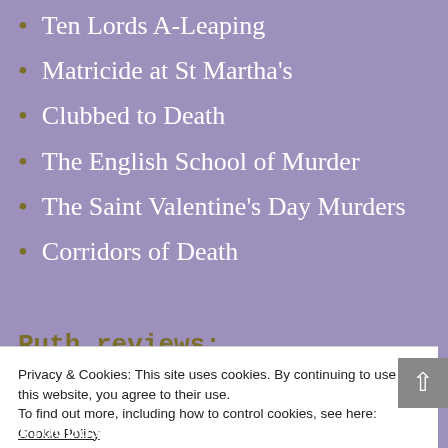Ten Lords A-Leaping
Matricide at St Martha's
Clubbed to Death
The English School of Murder
The Saint Valentine's Day Murders
Corridors of Death
Ruth reviews:
In the Name of the Son: The Gerry Conlon
Privacy & Cookies: This site uses cookies. By continuing to use this website, you agree to their use.
To find out more, including how to control cookies, see here: Cookie Policy
Prochaska